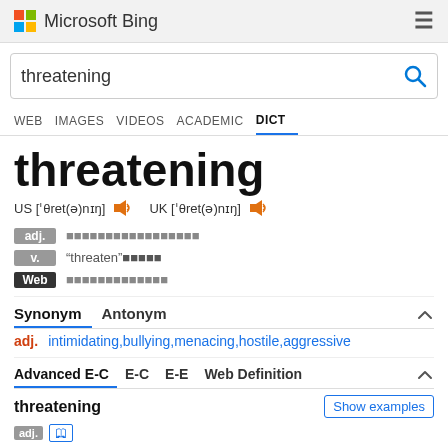Microsoft Bing
threatening (search query)
WEB  IMAGES  VIDEOS  ACADEMIC  DICT
threatening
US ['θret(ə)nɪŋ]  UK ['θret(ə)nɪŋ]
adj. [Chinese characters]
v. "threaten"[Chinese characters]
Web [Chinese characters]
Synonym  Antonym
adj. intimidating,bullying,menacing,hostile,aggressive
Advanced E-C  E-C  E-E  Web Definition
threatening
Show examples
adj.